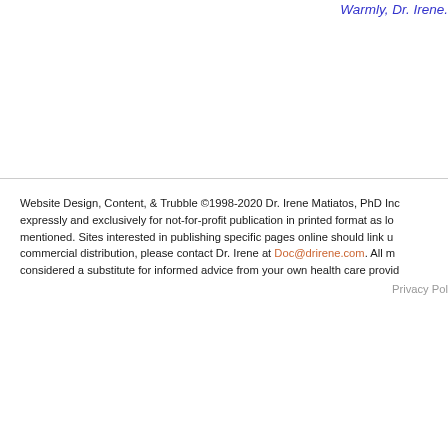Warmly, Dr. Irene.
Website Design, Content, & Trubble ©1998-2020 Dr. Irene Matiatos, PhD Inc. expressly and exclusively for not-for-profit publication in printed format as long as mentioned. Sites interested in publishing specific pages online should link u... commercial distribution, please contact Dr. Irene at Doc@drirene.com. All m... considered a substitute for informed advice from your own health care provid...
Privacy Pol...